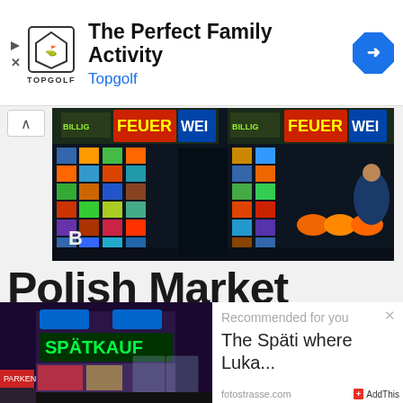[Figure (screenshot): Topgolf advertisement banner with logo, title 'The Perfect Family Activity', subtitle 'Topgolf', and blue navigation arrow icon]
[Figure (photo): Polish market storefront with colorful stacked merchandise, fireworks displays, and signage reading 'FEUERWERK']
Polish Market
[Figure (photo): Spätkauf convenience store front at night with green neon SPÄTKAUF sign]
[Figure (screenshot): Recommended content card: 'The Späti where Luka...' from fotostrasse.com with AddThis button]